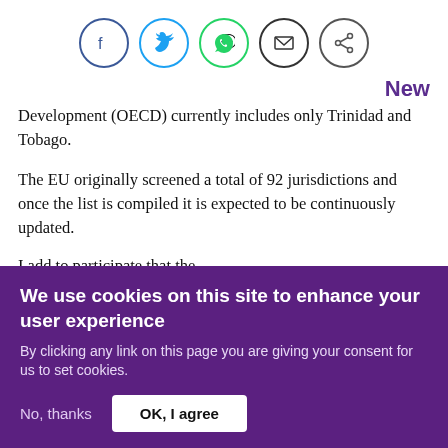[Figure (other): Social share icons: Facebook, Twitter, WhatsApp, Email, Share]
New
Development (OECD) currently includes only Trinidad and Tobago.
The EU originally screened a total of 92 jurisdictions and once the list is compiled it is expected to be continuously updated.
I add to participate that the...
We use cookies on this site to enhance your user experience
By clicking any link on this page you are giving your consent for us to set cookies.
No, thanks   OK, I agree